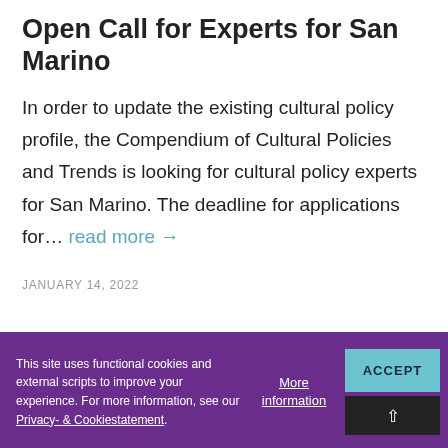Open Call for Experts for San Marino
In order to update the existing cultural policy profile, the Compendium of Cultural Policies and Trends is looking for cultural policy experts for San Marino. The deadline for applications for... read more →
JANUARY 14, 2022
This site uses functional cookies and external scripts to improve your experience. For more information, see our Privacy- & Cookiestatement.
More information
ACCEPT